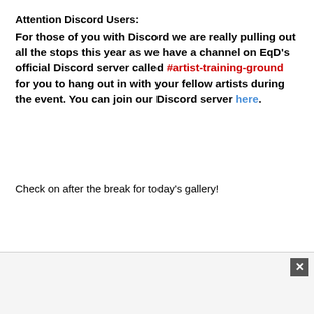Attention Discord Users:
For those of you with Discord we are really pulling out all the stops this year as we have a channel on EqD's official Discord server called #artist-training-ground for you to hang out in with your fellow artists during the event. You can join our Discord server here.
Check on after the break for today's gallery!
[Figure (other): Advertisement box at bottom of page with close/dismiss button (X icon) in upper right corner]